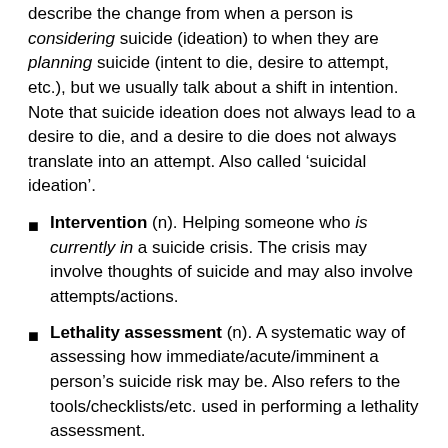describe the change from when a person is considering suicide (ideation) to when they are planning suicide (intent to die, desire to attempt, etc.), but we usually talk about a shift in intention. Note that suicide ideation does not always lead to a desire to die, and a desire to die does not always translate into an attempt. Also called ‘suicidal ideation’.
Intervention (n). Helping someone who is currently in a suicide crisis. The crisis may involve thoughts of suicide and may also involve attempts/actions.
Lethality assessment (n). A systematic way of assessing how immediate/acute/imminent a person’s suicide risk may be. Also refers to the tools/checklists/etc. used in performing a lethality assessment.
Lived experience (n). The things a person has